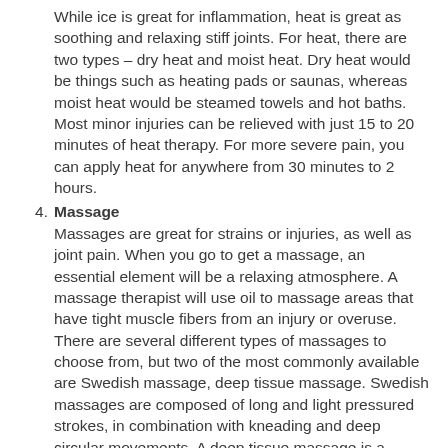While ice is great for inflammation, heat is great as soothing and relaxing stiff joints. For heat, there are two types – dry heat and moist heat. Dry heat would be things such as heating pads or saunas, whereas moist heat would be steamed towels and hot baths. Most minor injuries can be relieved with just 15 to 20 minutes of heat therapy. For more severe pain, you can apply heat for anywhere from 30 minutes to 2 hours.
Massage
Massages are great for strains or injuries, as well as joint pain. When you go to get a massage, an essential element will be a relaxing atmosphere. A massage therapist will use oil to massage areas that have tight muscle fibers from an injury or overuse. There are several different types of massages to choose from, but two of the most commonly available are Swedish massage, deep tissue massage. Swedish massages are composed of long and light pressured strokes, in combination with kneading and deep circular movements. A deep tissue massage is a slower, but more acute pressure type of massage that targets the deeper layers of muscle and tissue.
Chiropractic Adjustment
Having a chiropractic adjustment can do wonders...